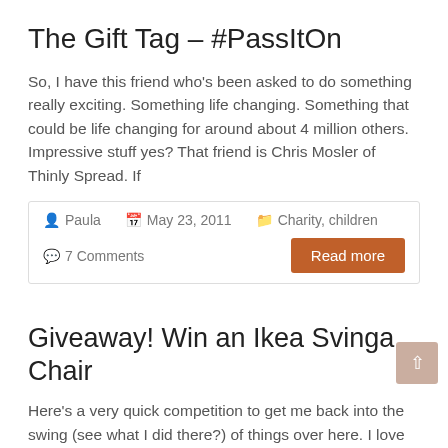The Gift Tag – #PassItOn
So, I have this friend who's been asked to do something really exciting. Something life changing. Something that could be life changing for around about 4 million others. Impressive stuff yes? That friend is Chris Mosler of Thinly Spread. If
Paula  May 23, 2011  Charity, children  7 Comments  Read more
Giveaway! Win an Ikea Svinga Chair
Here's a very quick competition to get me back into the swing (see what I did there?) of things over here. I love this chair, always have, there's something about the design that is just...there's nothing I don't love from...